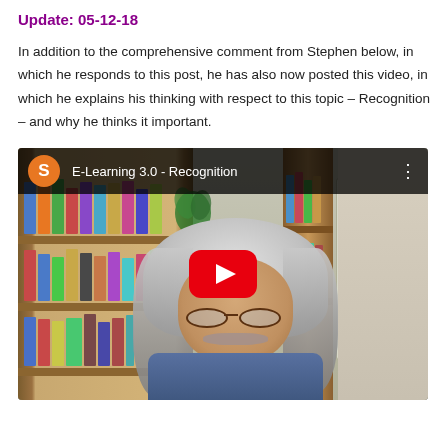Update: 05-12-18
In addition to the comprehensive comment from Stephen below, in which he responds to this post, he has also now posted this video, in which he explains his thinking with respect to this topic – Recognition – and why he thinks it important.
[Figure (screenshot): YouTube video thumbnail showing a man with long white/grey hair and glasses sitting in front of bookshelves. The video title reads 'E-Learning 3.0 - Recognition' with an orange 'S' avatar icon. A red YouTube play button is visible in the center.]